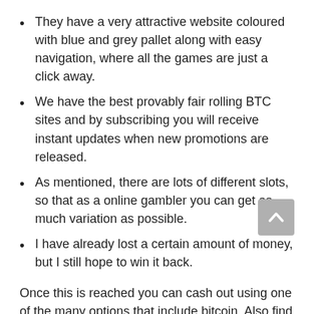They have a very attractive website coloured with blue and grey pallet along with easy navigation, where all the games are just a click away.
We have the best provably fair rolling BTC sites and by subscribing you will receive instant updates when new promotions are released.
As mentioned, there are lots of different slots, so that as a online gambler you can get as much variation as possible.
I have already lost a certain amount of money, but I still hope to win it back.
Once this is reached you can cash out using one of the many options that include bitcoin. Also find the best Ethereum, LiteCoin, DogeCoin and many more cryptocurrency gambling sites. Try the free spin offers and win daily and monthly cash bonuses on each spin. The other Live games offered are Live Blackjack, Live Baccarat and Dream Catcher, thus giving you a real-time casino experience in an instant. To close your account, contact the customer support team via live...